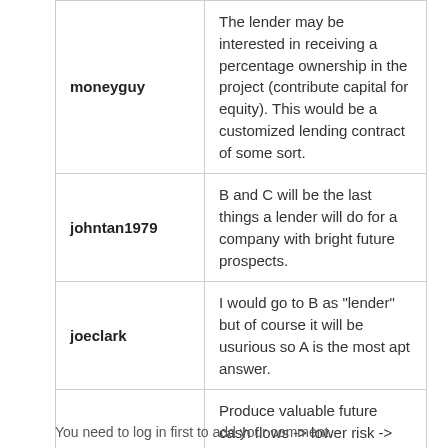| User | Comment |
| --- | --- |
| moneyguy | The lender may be interested in receiving a percentage ownership in the project (contribute capital for equity). This would be a customized lending contract of some sort. |
| johntan1979 | B and C will be the last things a lender will do for a company with bright future prospects. |
| joeclark | I would go to B as "lender" but of course it will be usurious so A is the most apt answer. |
| MathLoser | Produce valuable future cash flows -> lower risk -> no need to raise the costs of borrowing -> no need to ask the borrowers to pledge their assets. |
You need to log in first to add your comment.